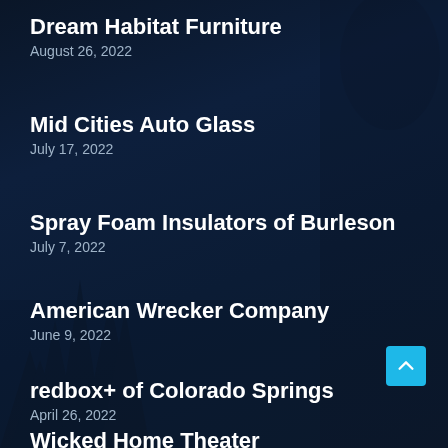Dream Habitat Furniture
August 26, 2022
Mid Cities Auto Glass
July 17, 2022
Spray Foam Insulators of Burleson
July 7, 2022
American Wrecker Company
June 9, 2022
redbox+ of Colorado Springs
April 26, 2022
Wicked Home Theater